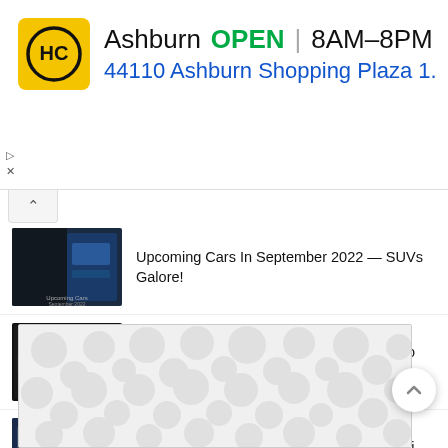[Figure (infographic): Advertisement banner: HC logo (yellow square with HC letters), text 'Ashburn OPEN 8AM-8PM', address '44110 Ashburn Shopping Plaza 1.', navigation arrow icon (blue diamond shape). Ad controls with play and close icons.]
Upcoming Cars In September 2022 — SUVs Galore!
Audi To Join Formula 1 In 2026 — Likely To Take Over Sauber F1 Team
Jeep India's 70th Dealership Opens In Navi Mumbai
[Figure (other): Bottom advertisement placeholder with bubble/pebble pattern in light gray on white background.]